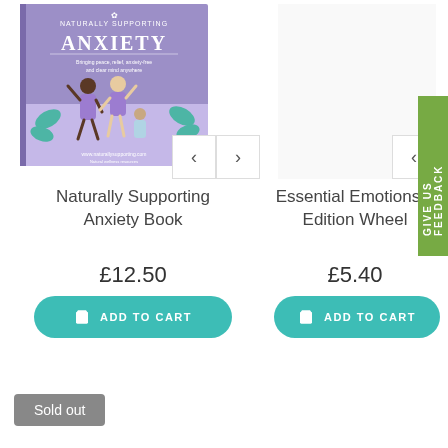[Figure (photo): Book cover for Naturally Supporting Anxiety featuring illustrated figures of people on a purple background]
Naturally Supporting Anxiety Book
£12.50
ADD TO CART
Essential Emotions 9 Edition Wheel
£5.40
ADD TO CART
Sold out
GIVE US FEEDBACK